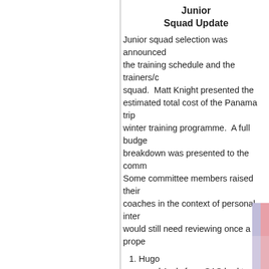Junior
Squad Update
Junior squad selection was announced the training schedule and the trainers/c squad.  Matt Knight presented the estimated total cost of the Panama trip winter training programme.  A full budge breakdown was presented to the comm Some committee members raised their coaches in the context of personal inter would still need reviewing once a prope
1. Hugo
and Andy from SAS had to leave t commitment but
gave a position on SAS involveme clear remit and more
clarity on how their organisation c very good working model with con
to
the table.